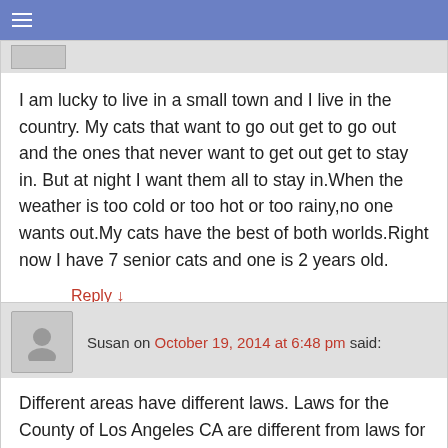≡
I am lucky to live in a small town and I live in the country. My cats that want to go out get to go out and the ones that never want to get out get to stay in. But at night I want them all to stay in.When the weather is too cold or too hot or too rainy,no one wants out.My cats have the best of both worlds.Right now I have 7 senior cats and one is 2 years old.
Reply ↓
Susan on October 19, 2014 at 6:48 pm said:
Different areas have different laws. Laws for the County of Los Angeles CA are different from laws for the City of Los Angeles, which is part of that County. In many rural areas cats are considered vermin. Where I live, people routinely call animal control to pick up free-roaming cats, even if they know where the cat resides. There is a great deal of controversy over this as many people feel that it is cruel to keep a cat indoors but IMO the dangers outdoors (mostly